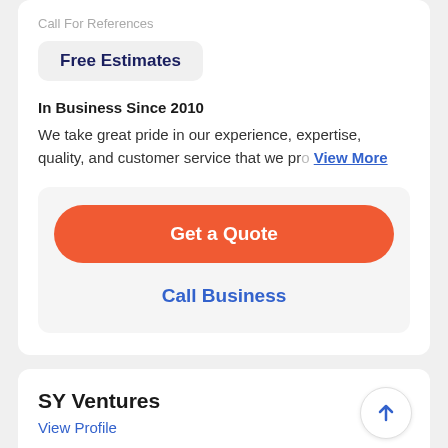Call For References
Free Estimates
In Business Since 2010
We take great pride in our experience, expertise, quality, and customer service that we pro View More
Get a Quote
Call Business
SY Ventures
View Profile
24 Verified Reviews